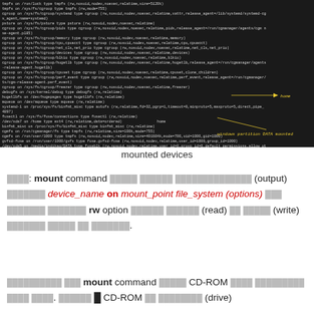[Figure (screenshot): Terminal/console screenshot showing output of mount command listing mounted filesystems including cgroup, tmpfs, ext4, fuse, and other filesystem types with mount options. Arrows point to a home directory ext4 mount and a Windows partition DATA mount.]
mounted devices
████: mount command █████ ██████ ██████████████ (output) ███████ device_name on mount_point file_system (options) ███ ███████ ███████ rw option ██████ ██████ (read) ██ █████ (write) ███████ █████ ██ ███████.
██████████ ███ mount command █████ CD-ROM ████ █████████ ████ ████. ██████ █ CD-ROM ██ ████████ (drive)